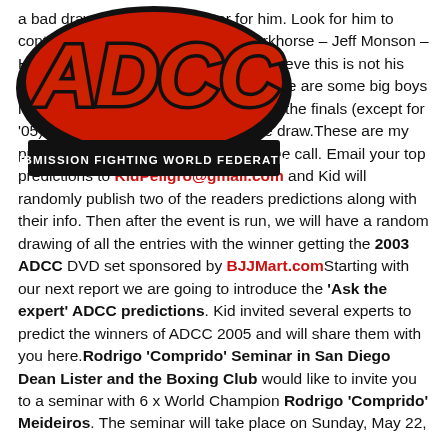[Figure (logo): ADCC Submission Fighting World Federation logo — red graffiti-style letters ADCC with black outline, black banner with white text SUBMISSION FIGHTING WORLD FEDERATION]
a bad draw could spell disaster for him. Look for him to contend, depending on the draw.Darkhorse – Jeff Monson – How far will he go? Only because I believe this is not his time. Although he got a good draw, there are some big boys here that he always manages to get to the finals (except for '05). Again his luck wil depend on the draw.These are my predictions, now I want you to make the call. Email your top predictions to KidPeligro@gmail.com and Kid will randomly publish two of the readers predictions along with their info. Then after the event is run, we will have a random drawing of all the entries with the winner getting the 2003 ADCC DVD set sponsored by BJJMart.comStarting with our next report we are going to introduce the 'Ask the expert' ADCC predictions. Kid invited several experts to predict the winners of ADCC 2005 and will share them with you here.Rodrigo 'Comprido' Seminar in San Diego Dean Lister and the Boxing Club would like to invite you to a seminar with 6 x World Champion Rodrigo 'Comprido' Meideiros. The seminar will take place on Sunday, May 22,